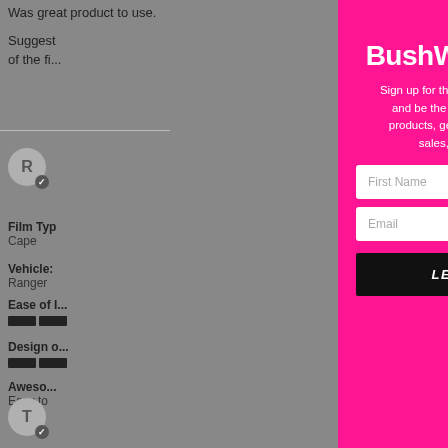Was great product to use.
Suggest preparation of the fi...
R
Film Type: Cape
Vehicle: Ranger
Ease of I...
Design o...
Aweso...
Easy to
T
[Figure (screenshot): Modal popup for BushWrapz Crew mailing list signup with pink background, featuring a title 'Join the BushWrapz Crew', descriptive text, First Name and Email input fields, a 'LET'S DO IT' button, and a close (X) button in the top right corner.]